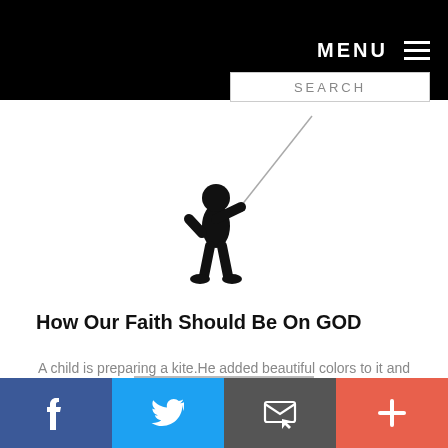MENU
SEARCH
[Figure (illustration): Black silhouette of a child flying a kite, holding a long string diagonal upward to the right]
How Our Faith Should Be On GOD
A child is preparing a kite.He added beautiful colors to it and made it so colorful.Once it is prepared he started flying it.Based on the...
f  (Twitter bird)  (email icon)  +